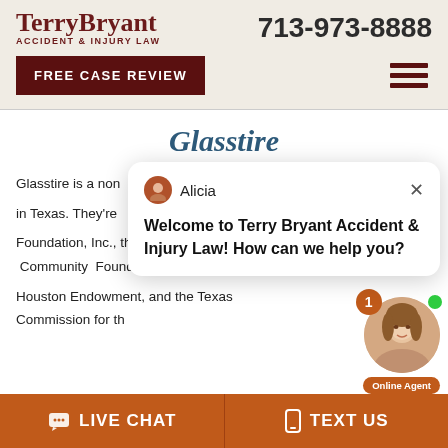Terry Bryant Accident & Injury Law | 713-973-8888
FREE CASE REVIEW
Glasstire
Glasstire is a non... in Texas. They're... Foundation, Inc., the Greater Houston Community Foundation, the Houston Endowment, and the Texas Commission for th...
[Figure (screenshot): Chat popup from Alicia: Welcome to Terry Bryant Accident & Injury Law! How can we help you? With online agent photo and notification badge.]
Visit Charity Website
LIVE CHAT | TEXT US